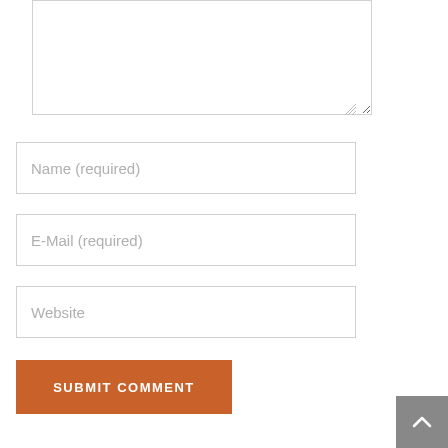[Figure (screenshot): Comment form textarea field (partially visible at top, with resize handle at bottom-right corner)]
Name (required)
E-Mail (required)
Website
SUBMIT COMMENT
[Figure (other): Scroll-to-top button with upward chevron arrow, grey background, positioned at bottom-right corner]